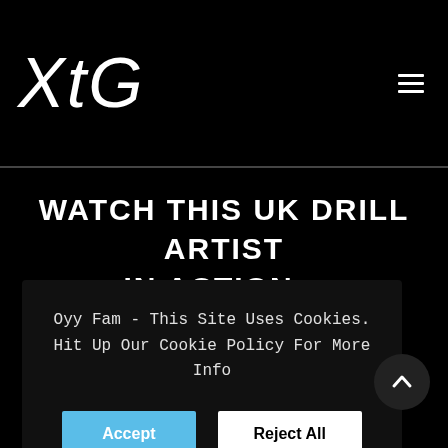XtG
WATCH THIS UK DRILL ARTIST IN ACTION...
Oyy Fam - This Site Uses Cookies. Hit Up Our Cookie Policy For More Info
Accept | Reject All
CONNECT WITH XtG